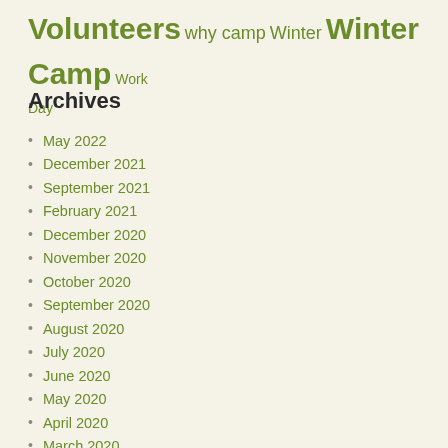Volunteers why camp Winter Winter Camp Work Day
Archives
May 2022
December 2021
September 2021
February 2021
December 2020
November 2020
October 2020
September 2020
August 2020
July 2020
June 2020
May 2020
April 2020
March 2020
December 2019
October 2019
September 2019